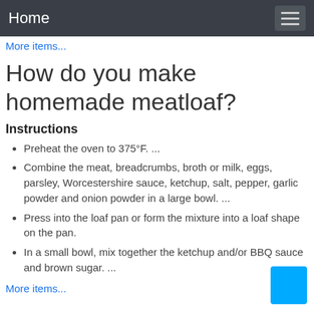Home
More items...
How do you make homemade meatloaf?
Instructions
Preheat the oven to 375°F. ...
Combine the meat, breadcrumbs, broth or milk, eggs, parsley, Worcestershire sauce, ketchup, salt, pepper, garlic powder and onion powder in a large bowl. ...
Press into the loaf pan or form the mixture into a loaf shape on the pan.
In a small bowl, mix together the ketchup and/or BBQ sauce and brown sugar. ...
More items...